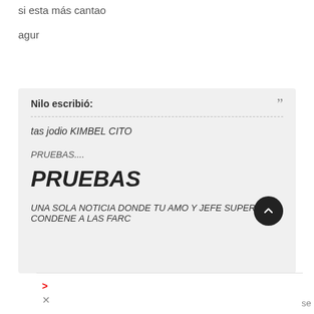si esta más cantao
agur
Nilo escribió:
tas jodio KIMBEL CITO
PRUEBAS....
PRUEBAS
UNA SOLA NOTICIA DONDE TU AMO Y JEFE SUPERIOR CONDENE A LAS FARC